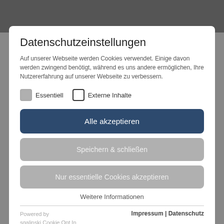Datenschutzeinstellungen
Auf unserer Webseite werden Cookies verwendet. Einige davon werden zwingend benötigt, während es uns andere ermöglichen, Ihre Nutzererfahrung auf unserer Webseite zu verbessern.
Essentiell
Externe Inhalte
Alle akzeptieren
Speichern & schließen
Nur essentielle Cookies akzeptieren
Weitere Informationen
Powered by
sgalinski Cookie Opt In
Impressum | Datenschutz